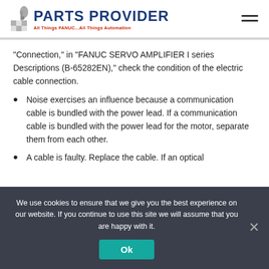[Figure (logo): Parts Provider logo with robot arm icon and tagline 'All Things FANUC...All Things Automation']
“Connection,” in “FANUC SERVO AMPLIFIER I series Descriptions (B-65282EN),” check the condition of the electric cable connection.
Noise exercises an influence because a communication cable is bundled with the power lead. If a communication cable is bundled with the power lead for the motor, separate them from each other.
A cable is faulty. Replace the cable. If an optical
We use cookies to ensure that we give you the best experience on our website. If you continue to use this site we will assume that you are happy with it.